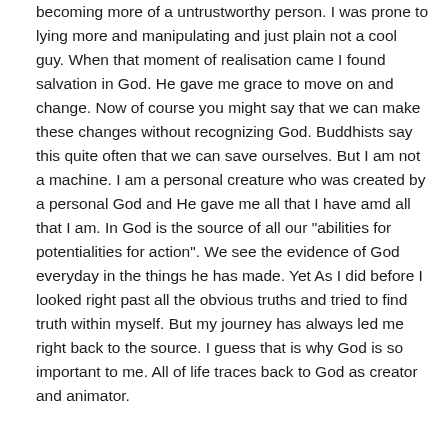becoming more of a untrustworthy person. I was prone to lying more and manipulating and just plain not a cool guy. When that moment of realisation came I found salvation in God. He gave me grace to move on and change. Now of course you might say that we can make these changes without recognizing God. Buddhists say this quite often that we can save ourselves. But I am not a machine. I am a personal creature who was created by a personal God and He gave me all that I have amd all that I am. In God is the source of all our "abilities for potentialities for action". We see the evidence of God everyday in the things he has made. Yet As I did before I looked right past all the obvious truths and tried to find truth within myself. But my journey has always led me right back to the source. I guess that is why God is so important to me. All of life traces back to God as creator and animator.
Quote
Fred Weiss
Posted August 15, 2004